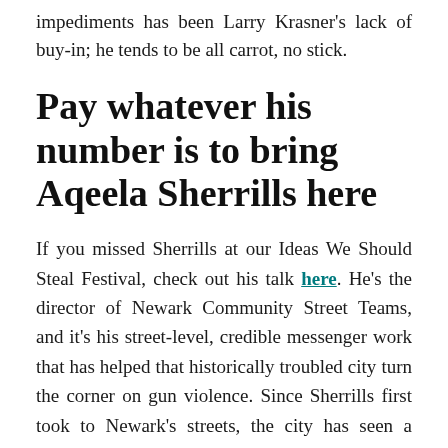impediments has been Larry Krasner's lack of buy-in; he tends to be all carrot, no stick.
Pay whatever his number is to bring Aqeela Sherrills here
If you missed Sherrills at our Ideas We Should Steal Festival, check out his talk here. He's the director of Newark Community Street Teams, and it's his street-level, credible messenger work that has helped that historically troubled city turn the corner on gun violence. Since Sherrills first took to Newark's streets, the city has seen a double-digit reduction in homicides and has hit a 60-year low in violence.